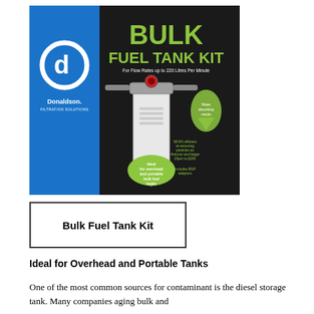[Figure (photo): Donaldson Filtration Solutions Bulk Fuel Tank Kit product brochure image. Left panel: blue background with Donaldson logo (white circular D emblem) and text 'Donaldson. FILTRATION SOLUTIONS'. Right panel: black background with large green bold text 'BULK FUEL TANK KIT', subtitle 'For Flow Rates up to 220 Litres Per Minute', photo of a fuel filter unit, green water droplet graphics with feature callouts: 'Water absorbing media', '99.5% efficient at removing particles as 4micron and larger 15μm to β200', 'Includes BSP adaptors', and a large green droplet saying 'Ideal for overhead and portable bulk fuel tanks'.]
Bulk Fuel Tank Kit
Ideal for Overhead and Portable Tanks
One of the most common sources for contaminant is the diesel storage tank. Many companies aging bulk and